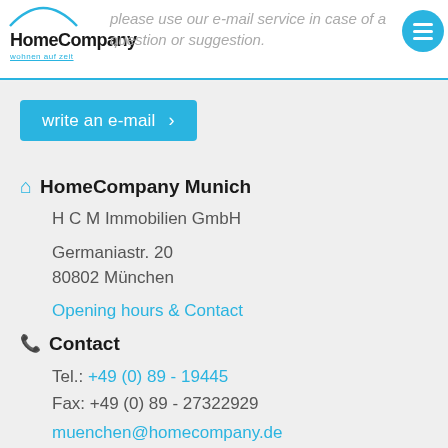[Figure (logo): HomeCompany logo with arc above text and blue subtitle 'wohnen auf zeit']
please use our e-mail service in case of a question or suggestion.
write an e-mail >
HomeCompany Munich
H C M Immobilien GmbH
Germaniastr. 20
80802 München
Opening hours & Contact
Contact
Tel.: +49 (0) 89 - 19445
Fax: +49 (0) 89 - 27322929
muenchen@homecompany.de